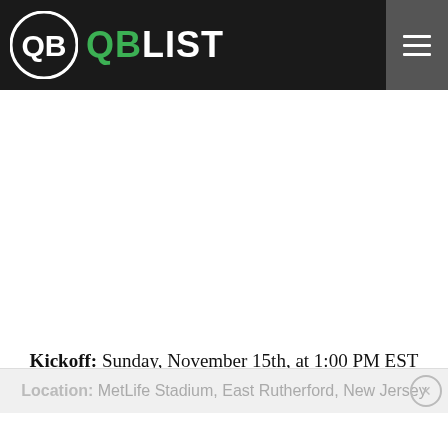QB QBLIST
Kickoff: Sunday, November 15th, at 1:00 PM EST
Location: MetLife Stadium, East Rutherford, New Jersey